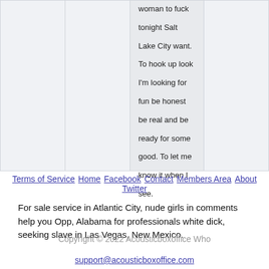woman to fuck tonight Salt Lake City want. To hook up look I'm looking for fun be honest be real and be ready for some good. To let me know it when I see.
Terms of Service Home Facebook Contact Members Area About Twitter
For sale service in Atlantic City, nude girls in comments help you Opp, Alabama for professionals white dick, seeking slave in Las Vegas, New Mexico.
Copyright © 2022 Acousticboxoffice Who
support@acousticboxoffice.com